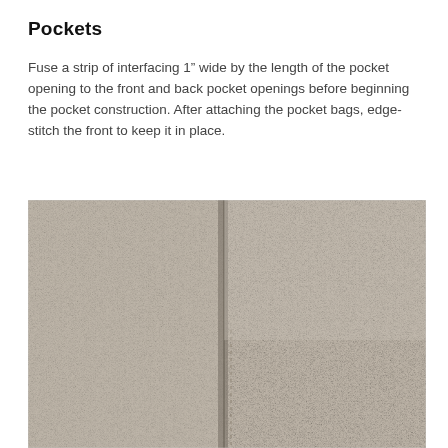Pockets
Fuse a strip of interfacing 1” wide by the length of the pocket opening to the front and back pocket openings before beginning the pocket construction. After attaching the pocket bags, edge-stitch the front to keep it in place.
[Figure (photo): Close-up photograph of linen fabric showing a pocket seam/edge-stitch detail. The fabric is a natural beige/grey linen with visible texture. A vertical seam runs down the center with stitching visible partway down.]